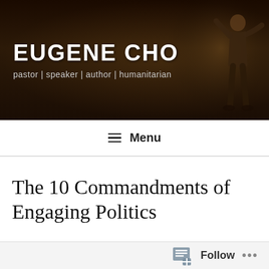[Figure (photo): Dark banner header showing 'EUGENE CHO' in large white bold text with subtitle 'pastor | speaker | author | humanitarian' and a person speaking/gesturing on the right side against a dark background]
≡ Menu
The 10 Commandments of Engaging Politics
[Figure (photo): Broken/unloaded image placeholder with small broken image icon]
Follow ...